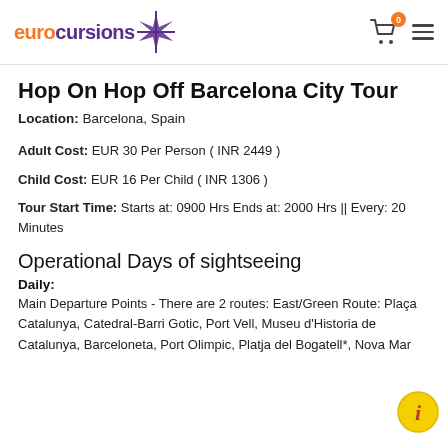eurocursions
Hop On Hop Off Barcelona City Tour
Location: Barcelona, Spain
Adult Cost: EUR 30 Per Person ( INR 2449 )
Child Cost: EUR 16 Per Child ( INR 1306 )
Tour Start Time: Starts at: 0900 Hrs Ends at: 2000 Hrs || Every: 20 Minutes
Operational Days of sightseeing
Daily:
Main Departure Points - There are 2 routes: East/Green Route: Plaça Catalunya, Catedral-Barri Gotic, Port Vell, Museu d'Historia de Catalunya, Barceloneta, Port Olimpic, Platja del Bogatell*, Nova Mar